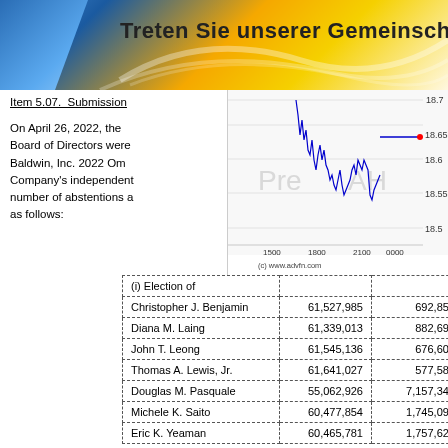[Figure (other): Banner with blue and gold gradient background with text 'Treten Sie unserer Gemeinschaft bei' (partial)]
Item 5.07.  Submission
On April 26, 2022, the Board of Directors were Baldwin, Inc. 2022 Om Company's independent number of abstentions as follows:
[Figure (continuous-plot): Stock price chart showing intraday price movement between approximately 18.5 and 18.7, with Pre and AH watermark labels. X-axis: 1500, 1800, 2100, 0000. Y-axis: 18.5 to 18.7. Source: (c) www.advfn.com]
| (i) Election of |  |  |
| --- | --- | --- |
| Christopher J. Benjamin | 61,527,985 | 692,857 |
| Diana M. Laing | 61,339,013 | 882,696 |
| John T. Leong | 61,545,136 | 676,603 |
| Thomas A. Lewis, Jr. | 61,641,027 | 577,583 |
| Douglas M. Pasquale | 55,062,926 | 7,157,346 |
| Michele K. Saito | 60,477,854 | 1,745,090 |
| Eric K. Yeaman | 60,465,781 | 1,757,625 |
| (ii) Advisory Vote on |  |  |
| --- | --- | --- |